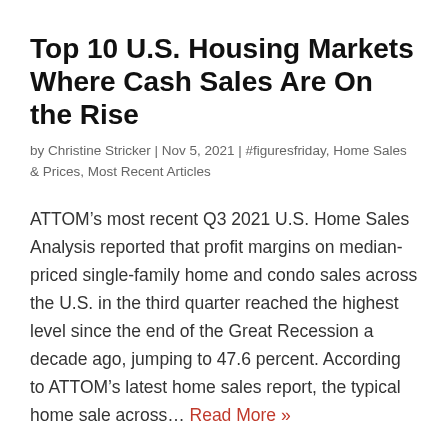Top 10 U.S. Housing Markets Where Cash Sales Are On the Rise
by Christine Stricker | Nov 5, 2021 | #figuresfriday, Home Sales & Prices, Most Recent Articles
ATTOM’s most recent Q3 2021 U.S. Home Sales Analysis reported that profit margins on median-priced single-family home and condo sales across the U.S. in the third quarter reached the highest level since the end of the Great Recession a decade ago, jumping to 47.6 percent. According to ATTOM’s latest home sales report, the typical home sale across... Read More »